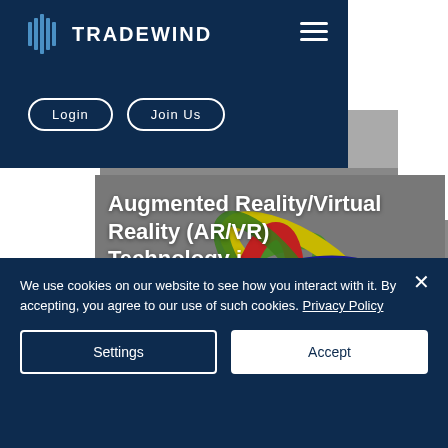TRADEWIND
Login
Join Us
Augmented Reality/Virtual Reality (AR/VR) Technology i...
[Figure (screenshot): Article preview image showing colorful interlocked rings/bands in green, yellow, red, blue against a gray background]
We use cookies on our website to see how you interact with it. By accepting, you agree to our use of such cookies. Privacy Policy
Settings
Accept